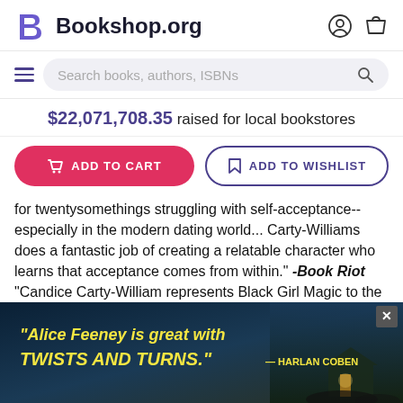Bookshop.org
Search books, authors, ISBNs
$22,071,708.35 raised for local bookstores
ADD TO CART
ADD TO WISHLIST
for twentysomethings struggling with self-acceptance--especially in the modern dating world... Carty-Williams does a fantastic job of creating a relatable character who learns that acceptance comes from within." -Book Riot "Candice Carty-William represents Black Girl Magic to the fullest... QUEENIE named after the name character follows... urney full of p...
[Figure (screenshot): Advertisement overlay with text: "Alice Feeney is great with TWISTS AND TURNS." — HARLAN COBEN, displayed over a dark moody background with a lit house/cottage]